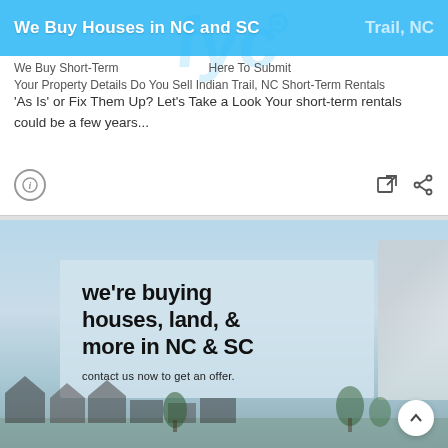We Buy Houses in NC and SC
We Buy Short-Term Rentals 'As Is' or Fix Them Up? Let's Take a Look Your short-term rentals could be a few years...
[Figure (screenshot): Promotional image for a real estate company with text: we're buying houses, land, & more in NC & SC. contact us now to get an offer. Background shows houses with a sky.]